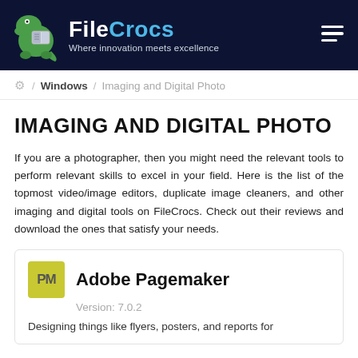FileCrocs — Where innovation meets excellence
/ Windows / Imaging and Digital Photo
IMAGING AND DIGITAL PHOTO
If you are a photographer, then you might need the relevant tools to perform relevant skills to excel in your field. Here is the list of the topmost video/image editors, duplicate image cleaners, and other imaging and digital tools on FileCrocs. Check out their reviews and download the ones that satisfy your needs.
Adobe Pagemaker — Version: 7.0.2 — Designing things like flyers, posters, and reports for